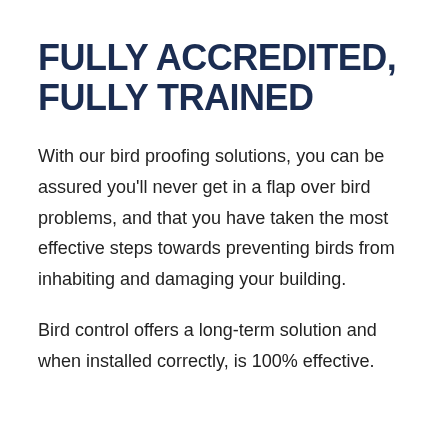FULLY ACCREDITED, FULLY TRAINED
With our bird proofing solutions, you can be assured you’ll never get in a flap over bird problems, and that you have taken the most effective steps towards preventing birds from inhabiting and damaging your building.
Bird control offers a long-term solution and when installed correctly, is 100% effective.